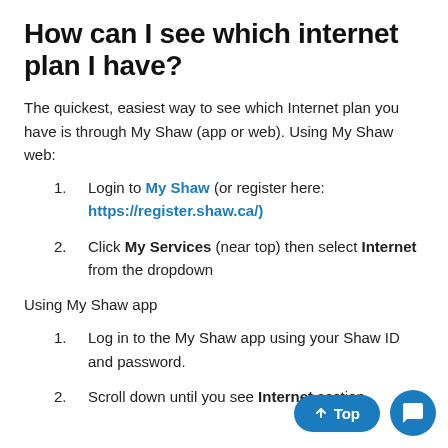How can I see which internet plan I have?
The quickest, easiest way to see which Internet plan you have is through My Shaw (app or web). Using My Shaw web:
Login to My Shaw (or register here: https://register.shaw.ca/)
Click My Services (near top) then select Internet from the dropdown
Using My Shaw app
Log in to the My Shaw app using your Shaw ID and password.
Scroll down until you see Internet section